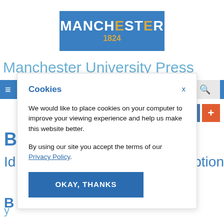[Figure (logo): Manchester 1824 university logo — blue rectangle with white MANCHESTER text and gold 1824]
Manchester University Press
[Figure (screenshot): Cookie consent modal dialog on Manchester University Press website]
Cookies
We would like to place cookies on your computer to improve your viewing experience and help us make this website better.
By using our site you accept the terms of our Privacy Policy.
OKAY, THANKS